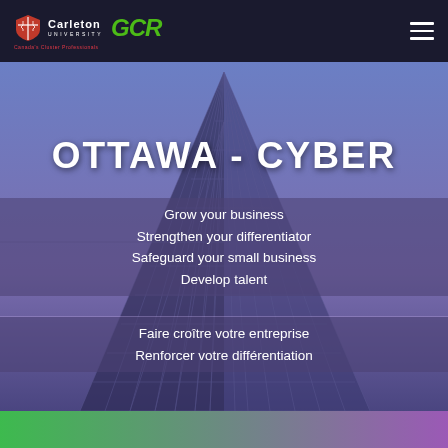[Figure (screenshot): Carleton University GCR logo with shield icon and green italic GCR lettering, plus hamburger menu icon, on dark navy navigation bar]
[Figure (photo): Looking-up view of a tall glass skyscraper with geometric grid facade against a blue-purple sky, used as background image]
OTTAWA - CYBER
Grow your business
Strengthen your differentiator
Safeguard your small business
Develop talent
Faire croître votre entreprise
Renforcer votre différentiation